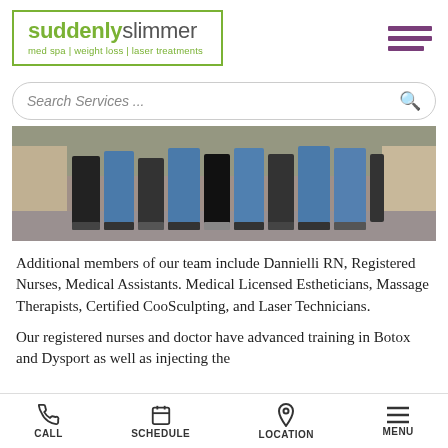[Figure (logo): Suddenly Slimmer med spa logo with green border. Text reads 'suddenly' in green bold and 'slimmer' in gray, with tagline 'med spa | weight loss | laser treatments']
[Figure (other): Hamburger menu icon with three horizontal purple/maroon bars]
Search Services ...
[Figure (photo): Team photo showing group of medical staff standing outdoors, wearing blue scrubs and black clothing, with stone columns and greenery in background]
Additional members of our team include Dannielli RN, Registered Nurses, Medical Assistants. Medical Licensed Estheticians, Massage Therapists, Certified CooSculpting, and Laser Technicians.
Our registered nurses and doctor have advanced training in Botox and Dysport as well as injecting the
CALL   SCHEDULE   LOCATION   MENU